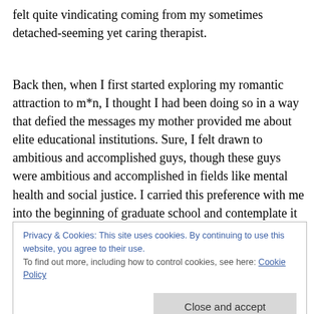felt quite vindicating coming from my sometimes detached-seeming yet caring therapist.
Back then, when I first started exploring my romantic attraction to m*n, I thought I had been doing so in a way that defied the messages my mother provided me about elite educational institutions. Sure, I felt drawn to ambitious and accomplished guys, though these guys were ambitious and accomplished in fields like mental health and social justice. I carried this preference with me into the beginning of graduate school and contemplate it to
Privacy & Cookies: This site uses cookies. By continuing to use this website, you agree to their use.
To find out more, including how to control cookies, see here: Cookie Policy
what my mother instilled within me, the importance of